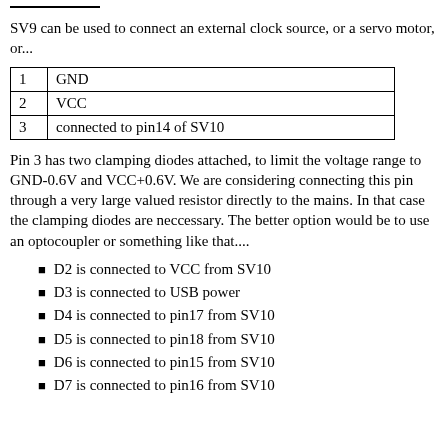SV9 can be used to connect an external clock source, or a servo motor, or...
| 1 | GND |
| 2 | VCC |
| 3 | connected to pin14 of SV10 |
Pin 3 has two clamping diodes attached, to limit the voltage range to GND-0.6V and VCC+0.6V. We are considering connecting this pin through a very large valued resistor directly to the mains. In that case the clamping diodes are neccessary. The better option would be to use an optocoupler or something like that....
D2 is connected to VCC from SV10
D3 is connected to USB power
D4 is connected to pin17 from SV10
D5 is connected to pin18 from SV10
D6 is connected to pin15 from SV10
D7 is connected to pin16 from SV10